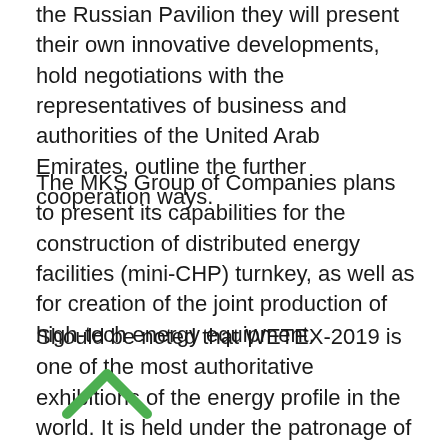the Russian Pavilion they will present their own innovative developments, hold negotiations with the representatives of business and authorities of the United Arab Emirates, outline the further cooperation ways.
The MKS Group of Companies plans to present its capabilities for the construction of distributed energy facilities (mini-CHP) turnkey, as well as for creation of the joint production of high-tech energy equipment.
Should be noted that WETEX-2019 is one of the most authoritative exhibitions of the energy profile in the world. It is held under the patronage of the UAE Prime Minister, the Governor of Dubai Mohammed bin Rashid Al Maktoum. The exhibition is organized by Dubai Electricity and Water Administration (DEWA). This year, WETEX-2019 and the World Green Economy Summit will unite over